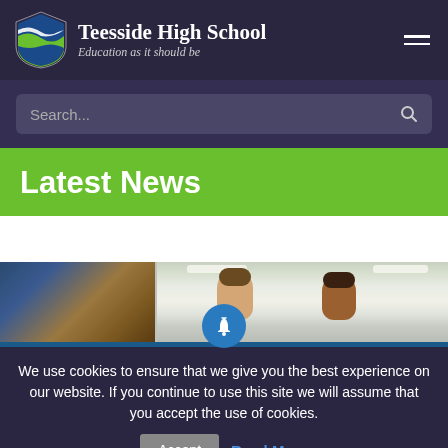[Figure (logo): Teesside High School shield logo with blue and green wave design]
Teesside High School
Education as it should be
[Figure (screenshot): Search bar with placeholder text 'Search...' and magnifying glass icon]
Latest News
[Figure (photo): Photo strip showing students in a classroom or school setting]
We use cookies to ensure that we give you the best experience on our website. If you continue to use this site we will assume that you accept the use of cookies.
Accept
Read More